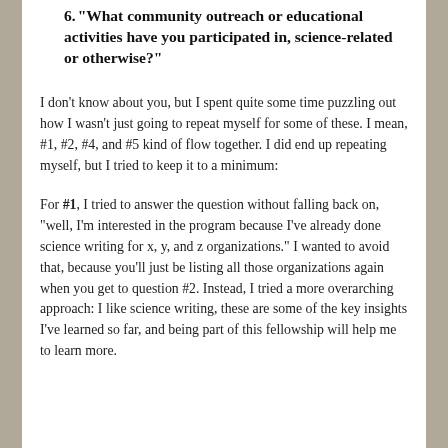6. “What community outreach or educational activities have you participated in, science-related or otherwise?”
I don’t know about you, but I spent quite some time puzzling out how I wasn’t just going to repeat myself for some of these. I mean, #1, #2, #4, and #5 kind of flow together. I did end up repeating myself, but I tried to keep it to a minimum:
For #1, I tried to answer the question without falling back on, “well, I’m interested in the program because I’ve already done science writing for x, y, and z organizations.” I wanted to avoid that, because you’ll just be listing all those organizations again when you get to question #2. Instead, I tried a more overarching approach: I like science writing, these are some of the key insights I’ve learned so far, and being part of this fellowship will help me to learn more.